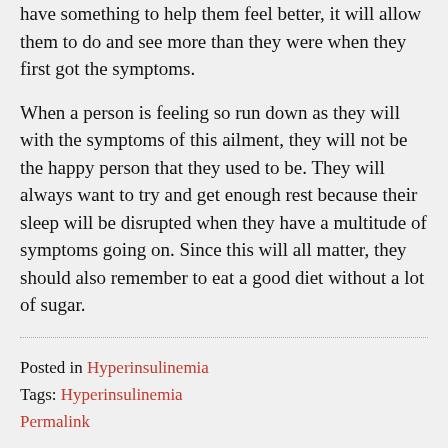have something to help them feel better, it will allow them to do and see more than they were when they first got the symptoms.
When a person is feeling so run down as they will with the symptoms of this ailment, they will not be the happy person that they used to be. They will always want to try and get enough rest because their sleep will be disrupted when they have a multitude of symptoms going on. Since this will all matter, they should also remember to eat a good diet without a lot of sugar.
Posted in Hyperinsulinemia
Tags: Hyperinsulinemia
Permalink